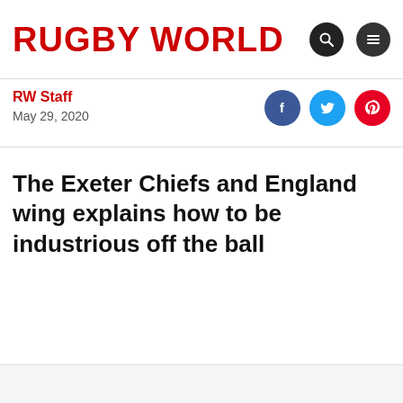RUGBY WORLD
RW Staff
May 29, 2020
The Exeter Chiefs and England wing explains how to be industrious off the ball